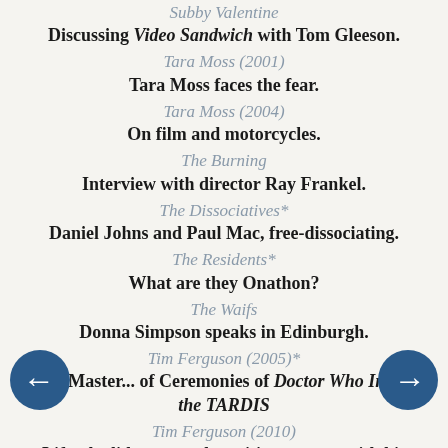Subby Valentine
Discussing Video Sandwich with Tom Gleeson.
Tara Moss (2001)
Tara Moss faces the fear.
Tara Moss (2004)
On film and motorcycles.
The Burning
Interview with director Ray Frankel.
The Dissociatives*
Daniel Johns and Paul Mac, free-dissociating.
The Residents*
What are they Onathon?
The Waifs
Donna Simpson speaks in Edinburgh.
Tim Ferguson (2005)*
The Master... of Ceremonies of Doctor Who Inside the TARDIS
Tim Ferguson (2010)
Lifts the lid on comedy-writing process with his book The Cheeky Monkey
Tim Searle*
Animation director of I Am Not An Animal